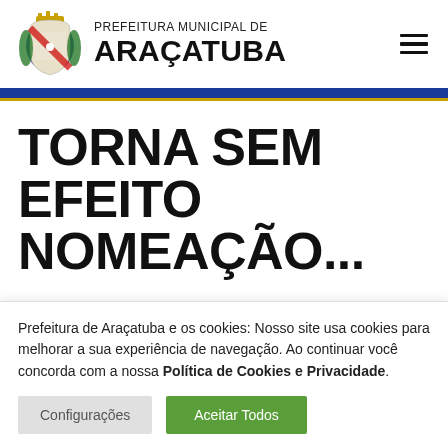PREFEITURA MUNICIPAL DE ARAÇATUBA
TORNA SEM EFEITO NOMEAÇÃO...
Prefeitura de Araçatuba e os cookies: Nosso site usa cookies para melhorar a sua experiência de navegação. Ao continuar você concorda com a nossa Política de Cookies e Privacidade.